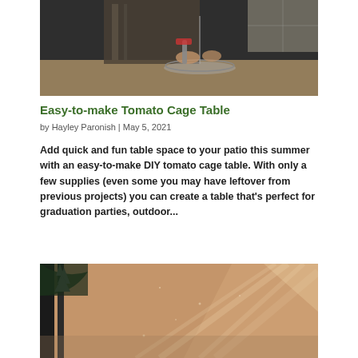[Figure (photo): Person hammering or working on a round glass or wire object on a wooden table, DIY project photo]
Easy-to-make Tomato Cage Table
by Hayley Paronish | May 5, 2021
Add quick and fun table space to your patio this summer with an easy-to-make DIY tomato cage table. With only a few supplies (even some you may have leftover from previous projects) you can create a table that’s perfect for graduation parties, outdoor...
[Figure (photo): Forest scene with sunlight rays filtering through trees, warm amber and green tones]